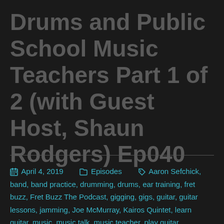Drums and Public School Music Teachers Part 1 of 2 (with Guest Host, Shaun Rodgers) Ep040
April 4, 2019  Episodes  Aaron Sefchick, band, band practice, drumming, drums, ear training, fret buzz, Fret Buzz The Podcast, gigging, gigs, guitar, guitar lessons, jamming, Joe McMurray, Kairos Quintet, learn guitar, music, music talk, music teacher, play guitar,